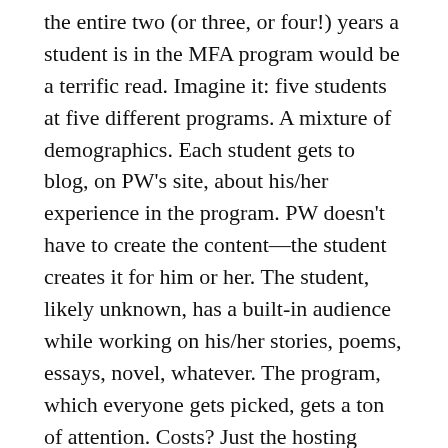the entire two (or three, or four!) years a student is in the MFA program would be a terrific read. Imagine it: five students at five different programs. A mixture of demographics. Each student gets to blog, on PW's site, about his/her experience in the program. PW doesn't have to create the content—the student creates it for him or her. The student, likely unknown, has a built-in audience while working on his/her stories, poems, essays, novel, whatever. The program, which everyone gets picked, gets a ton of attention. Costs? Just the hosting space on PW's site. It would send PW a ton of traffic. It also would provide a close look at what it would be like to be in a particular writing program. Easy to do, and useful, and insightful for everyone involved.
But I don't think PW is worthless without the